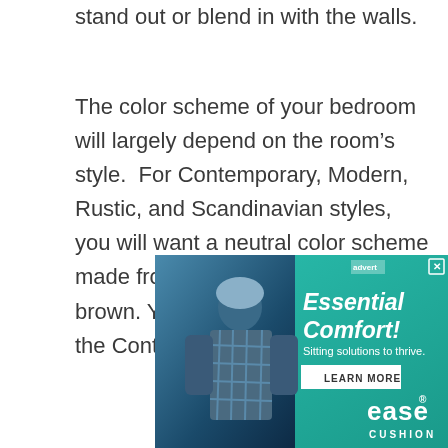stand out or blend in with the walls.
The color scheme of your bedroom will largely depend on the room's style.  For Contemporary, Modern, Rustic, and Scandinavian styles, you will want a neutral color scheme made from white, cream, beige, or brown. You can add pops of color to the Contemporary style, as well.
In rooms with a neutral color scheme, you will probably want the headboard to look more subdued against the wall. If the wall is painted
[Figure (other): Advertisement banner for 'Essential Comfort!' by ease CUSHION with tagline 'Sitting solutions to thrive.' and a LEARN MORE button. Features a woman in plaid shirt on the left side.]